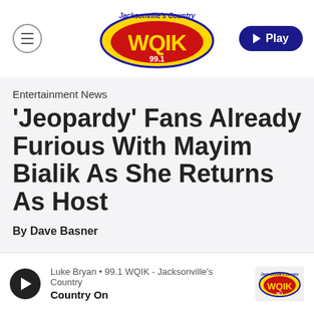[Figure (logo): WQIK 99.1 Jacksonville's Country radio station logo — yellow and red oval with WQIK text in yellow on red background, 99.1 below, 'Jacksonville's Country' text above in blue/white script]
Entertainment News
'Jeopardy' Fans Already Furious With Mayim Bialik As She Returns As Host
By Dave Basner
Luke Bryan • 99.1 WQIK - Jacksonville's Country
Country On